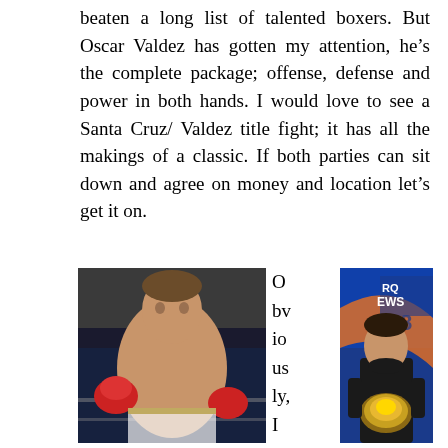beaten a long list of talented boxers. But Oscar Valdez has gotten my attention, he’s the complete package; offense, defense and power in both hands. I would love to see a Santa Cruz/ Valdez title fight; it has all the makings of a classic. If both parties can sit down and agree on money and location let’s get it on.
[Figure (photo): Photo of Scott Quigg, a boxer wearing red gloves, shirtless in a boxing ring]
Obviously, I w
[Figure (photo): Photo of Jason Sanchez holding a boxing championship belt, standing in front of a news station backdrop]
Scott Quigg
Jason Sanchez